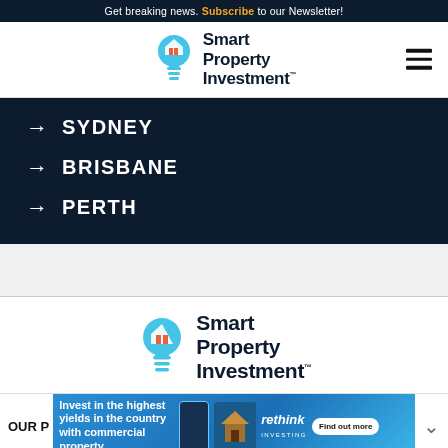Get breaking news. Subscribe to our Newsletter!
[Figure (logo): Smart Property Investment logo in site header with hamburger menu icon]
→ SYDNEY
→ BRISBANE
→ PERTH
[Figure (logo): Smart Property Investment logo centered on white background]
OUR P
[Figure (infographic): Advertisement banner: Invest in the highest yields in the country with commercial property – rethink investing, Find out more button]